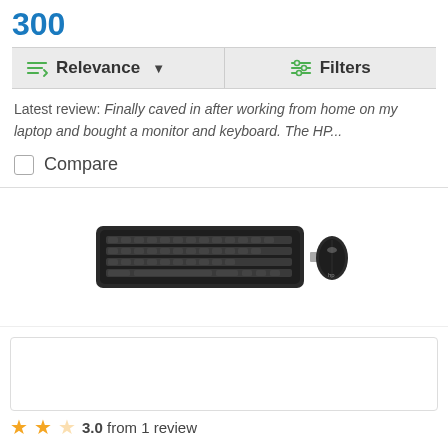300
Relevance   Filters
Latest review: Finally caved in after working from home on my laptop and bought a monitor and keyboard. The HP...
Compare
[Figure (photo): HP wireless keyboard and mouse combo product image on white background]
3.0 from 1 review